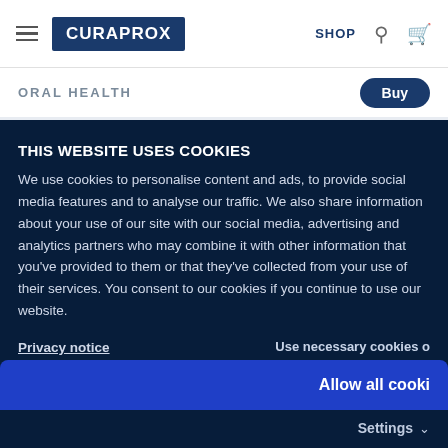CURAPROX | SHOP
ORAL HEALTH
THIS WEBSITE USES COOKIES
We use cookies to personalise content and ads, to provide social media features and to analyse our traffic. We also share information about your use of our site with our social media, advertising and analytics partners who may combine it with other information that you've provided to them or that they've collected from your use of their services. You consent to our cookies if you continue to use our website.
Privacy notice
Use necessary cookies o
Allow all cooki
Settings